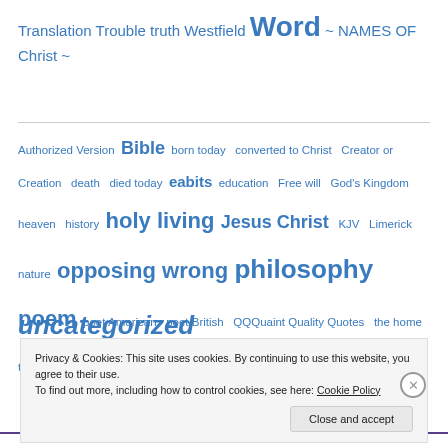Translation Trouble truth Westfield Word ~ NAMES OF Christ ~
Authorized Version Bible born today converted to Christ Creator or Creation death died today eabits education Free will God's Kingdom heaven history holy living Jesus Christ KJV Limerick nature opposing wrong philosophy poem poet American poet British QQQuaint Quality Quotes the home time today in uncategorized
Privacy & Cookies: This site uses cookies. By continuing to use this website, you agree to their use. To find out more, including how to control cookies, see here: Cookie Policy
Close and accept